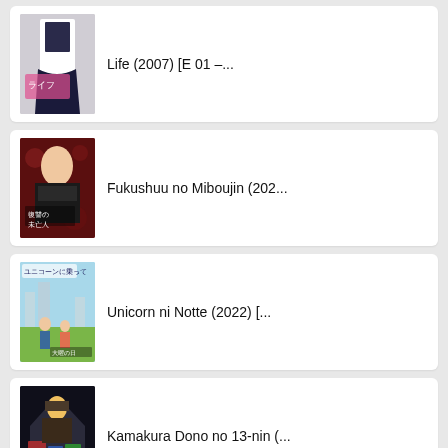Life (2007) [E 01 –...
Fukushuu no Miboujin (202...
Unicorn ni Notte (2022) [...
Kamakura Dono no 13-nin (...
(partially visible)